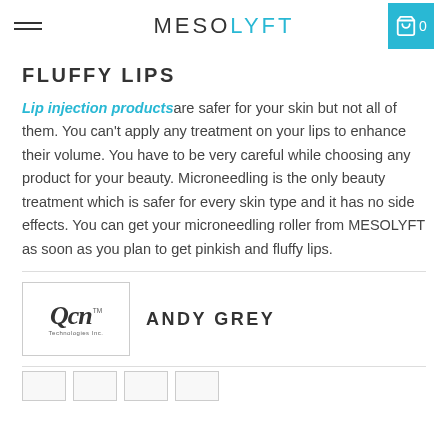MESOLYFT
FLUFFY LIPS
Lip injection products are safer for your skin but not all of them. You can't apply any treatment on your lips to enhance their volume. You have to be very careful while choosing any product for your beauty. Microneedling is the only beauty treatment which is safer for every skin type and it has no side effects. You can get your microneedling roller from MESOLYFT as soon as you plan to get pinkish and fluffy lips.
[Figure (logo): QCR Technologies Inc. logo in a bordered box]
ANDY GREY